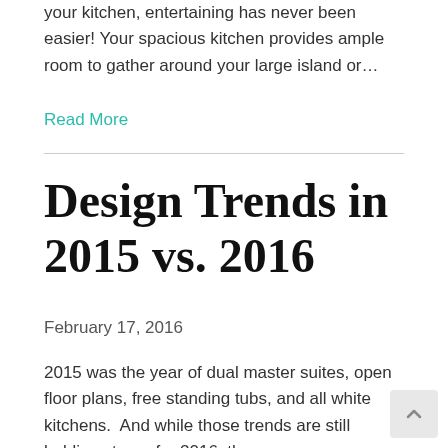your kitchen, entertaining has never been easier! Your spacious kitchen provides ample room to gather around your large island or…
Read More
Design Trends in 2015 vs. 2016
February 17, 2016
2015 was the year of dual master suites, open floor plans, free standing tubs, and all white kitchens.  And while those trends are still holding strong for 2016, there are a